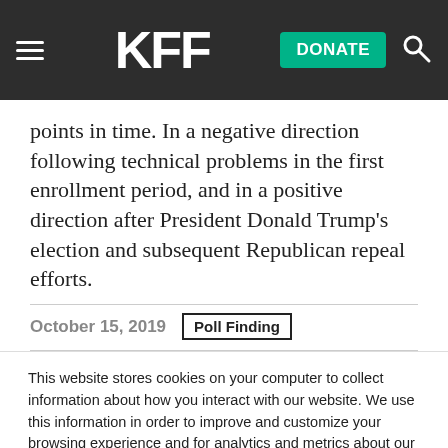KFF | DONATE
points in time. In a negative direction following technical problems in the first enrollment period, and in a positive direction after President Donald Trump's election and subsequent Republican repeal efforts.
October 15, 2019  Poll Finding
This website stores cookies on your computer to collect information about how you interact with our website. We use this information in order to improve and customize your browsing experience and for analytics and metrics about our visitors both on this website and other media. To find out more about the cookies we use, see our Privacy Policy.
Accept